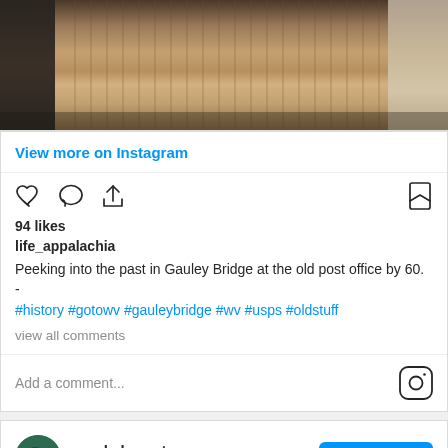[Figure (photo): Partial view of a wooden deck or porch floor with metal furniture legs, shot from below or at ground level, in dark/warm tones]
View more on Instagram
[Figure (infographic): Instagram post UI: heart, comment, share icons on left; bookmark icon on right]
94 likes
life_appalachia
Peeking into the past in Gauley Bridge at the old post office by 60.
-
#history #gotowv #gauleybridge #wv #usps #oldstuff
view all comments
Add a comment...
muckaleewater
173 followers
View profile